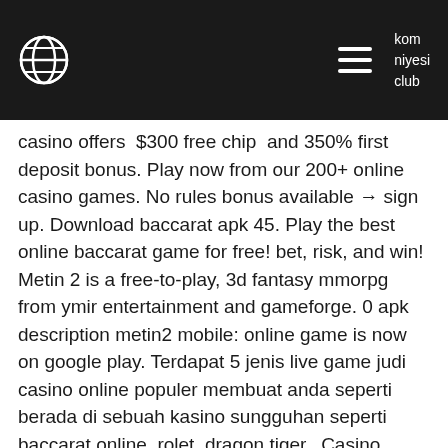kom
niyesi
club
casino offers $300 free chip and 350% first deposit bonus. Play now from our 200+ online casino games. No rules bonus available → sign up. Download baccarat apk 45. Play the best online baccarat game for free! bet, risk, and win! Metin 2 is a free-to-play, 3d fantasy mmorpg from ymir entertainment and gameforge. 0 apk description metin2 mobile: online game is now on google play. Terdapat 5 jenis live game judi casino online populer membuat anda seperti berada di sebuah kasino sungguhan seperti baccarat online, rolet, dragon tiger,. Casino roulette: roulettist apk v42. 0 download play the best free
If you own old casino chips, you can sell them for a reasonable price, baccarat online 3d free casino apk.